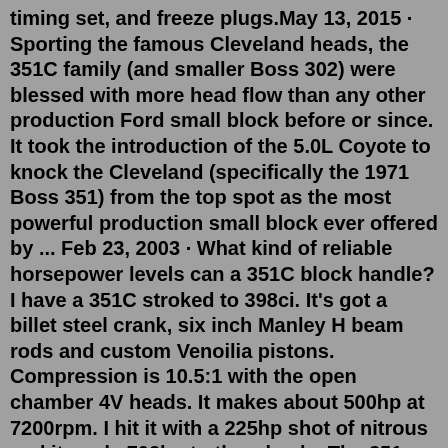timing set, and freeze plugs.May 13, 2015 · Sporting the famous Cleveland heads, the 351C family (and smaller Boss 302) were blessed with more head flow than any other production Ford small block before or since. It took the introduction of the 5.0L Coyote to knock the Cleveland (specifically the 1971 Boss 351) from the top spot as the most powerful production small block ever offered by ... Feb 23, 2003 · What kind of reliable horsepower levels can a 351C block handle? I have a 351C stroked to 398ci. It's got a billet steel crank, six inch Manley H beam rods and custom Venoilia pistons. Compression is 10.5:1 with the open chamber 4V heads. It makes about 500hp at 7200rpm. I hit it with a 225hp shot of nitrous and it made 702hp to the wheels. The 351 Cleveland engine is one of the engines in the 335 FORD series of engines. Other engines in this series are the 351 Cleveland Boss, 351 Cleveland HO, 351 M and the 400 series. The C behind the engine denotes the place of manufacture – Cleveland, Ohio. As opposed to a 351 W...